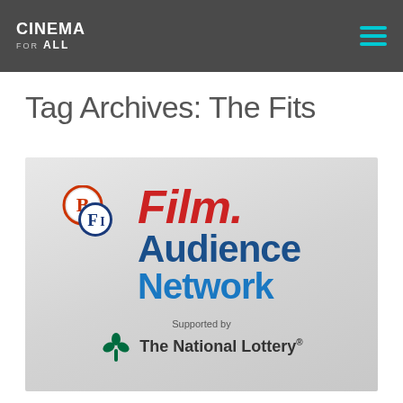CINEMA FOR ALL
Tag Archives: The Fits
[Figure (logo): BFI Film Audience Network logo with National Lottery support badge on a light grey gradient background]